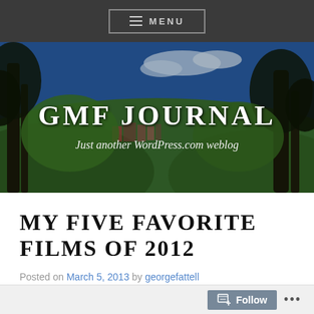≡ MENU
[Figure (photo): Landscape photo of trees and a town in the background with a blue sky, used as a hero banner for the GMF Journal blog.]
GMF JOURNAL
Just another WordPress.com weblog
MY FIVE FAVORITE FILMS OF 2012
Posted on March 5, 2013 by georgefattell
Follow ...